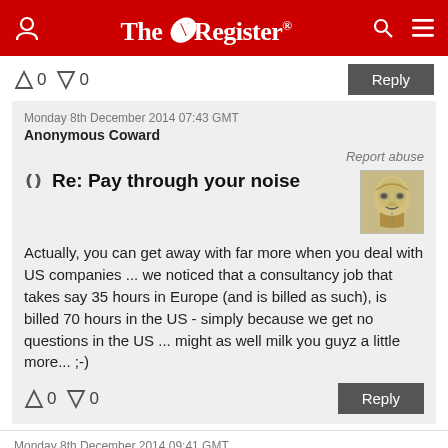The Register
↑0  ↓0
Reply
Monday 8th December 2014 07:43 GMT
Anonymous Coward
Report abuse
Re: Pay through your noise
Actually, you can get away with far more when you deal with US companies ... we noticed that a consultancy job that takes say 35 hours in Europe (and is billed as such), is billed 70 hours in the US - simply because we get no questions in the US ... might as well milk you guyz a little more... ;-)
↑0  ↓0
Reply
Monday 8th December 2014 09:41 GMT
codejunky